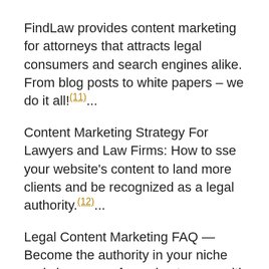FindLaw provides content marketing for attorneys that attracts legal consumers and search engines alike. From blog posts to white papers – we do it all!(11)...
Content Marketing Strategy For Lawyers and Law Firms: How to sse your website's content to land more clients and be recognized as a legal authority.(12)...
Legal Content Marketing FAQ — Become the authority in your niche and sign more of your best cases with content marketing for law firms. Are you (13)...